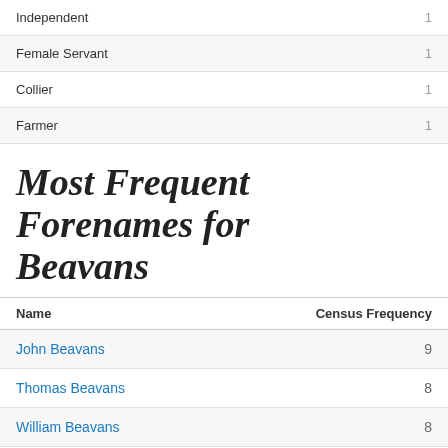Independent  1
Female Servant  1
Collier  1
Farmer  1
Most Frequent Forenames for Beavans
| Name | Census Frequency |
| --- | --- |
| John Beavans | 9 |
| Thomas Beavans | 8 |
| William Beavans | 8 |